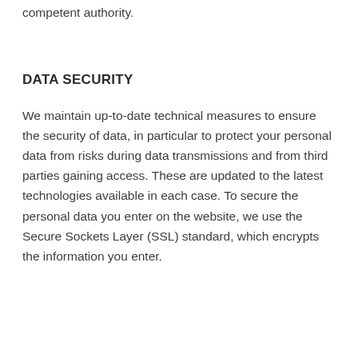competent authority.
DATA SECURITY
We maintain up-to-date technical measures to ensure the security of data, in particular to protect your personal data from risks during data transmissions and from third parties gaining access. These are updated to the latest technologies available in each case. To secure the personal data you enter on the website, we use the Secure Sockets Layer (SSL) standard, which encrypts the information you enter.